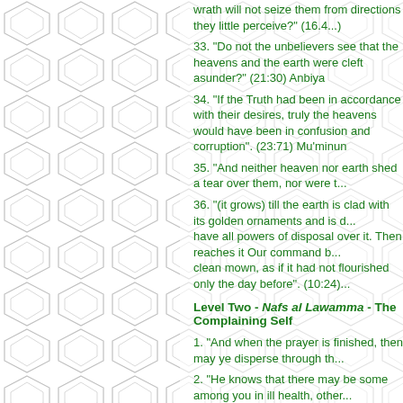wrath will not seize them from directions they little perceive?" (16.4...)
33. "Do not the unbelievers see that the heavens and the earth were cleft asunder?" (21:30) Anbiya
34. "If the Truth had been in accordance with their desires, truly the heavens would have been in confusion and corruption". (23:71) Mu'minun
35. "And neither heaven nor earth shed a tear over them, nor were t...
36. "(it grows) till the earth is clad with its golden ornaments and is d... have all powers of disposal over it. Then reaches it Our command b... clean mown, as if it had not flourished only the day before". (10:24)...
Level Two - Nafs al Lawamma - The Complaining Self
1. "And when the prayer is finished, then may ye disperse through th...
2. "He knows that there may be some among you in ill health, other... bounty". (73:20) Muzammil
3. "He is the Creator of the heavens and the earth". (42:11) Shura
4. "The Way of Allah, to Whom belongs whatever is in the heavens....
5. "Verily in the heavens and the earth are signs for those who belie...
6. "If it be that ye can pass beyond the zones of the heavens and th...
7. "But do thou good, as Allah has been good to thee, and seek not... Qasas
8. "And do they not see that We do drive rain to the parched earth...